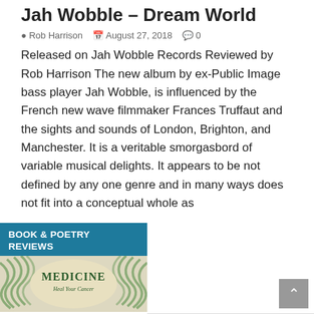Jah Wobble – Dream World
Rob Harrison  August 27, 2018  0
Released on Jah Wobble Records Reviewed by Rob Harrison The new album by ex-Public Image bass player Jah Wobble, is influenced by the French new wave filmmaker Frances Truffaut and the sights and sounds of London, Brighton, and Manchester. It is a veritable smorgasbord of variable musical delights. It appears to be not defined by any one genre and in many ways does not fit into a conceptual whole as
[Figure (other): Book cover section with teal header reading 'BOOK & POETRY REVIEWS' and a book cover showing 'MEDICINE Heal Your Cancer' with green swirl design on cream background]